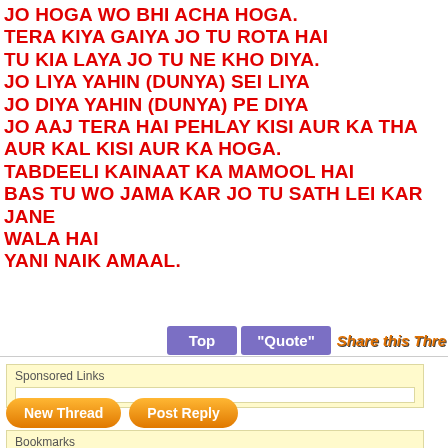JO HOGA WO BHI ACHA HOGA. TERA KIYA GAIYA JO TU ROTA HAI TU KIA LAYA JO TU NE KHO DIYA. JO LIYA YAHIN (DUNYA) SEI LIYA JO DIYA YAHIN (DUNYA) PE DIYA JO AAJ TERA HAI PEHLAY KISI AUR KA THA AUR KAL KISI AUR KA HOGA. TABDEELI KAINAAT KA MAMOOL HAI BAS TU WO JAMA KAR JO TU SATH LEI KAR JANE WALA HAI YANI NAIK AMAAL.
[Figure (screenshot): Buttons row with Top, Quote, and Share this Thread buttons]
Sponsored Links
[Figure (screenshot): New Thread and Post Reply orange buttons]
Bookmarks